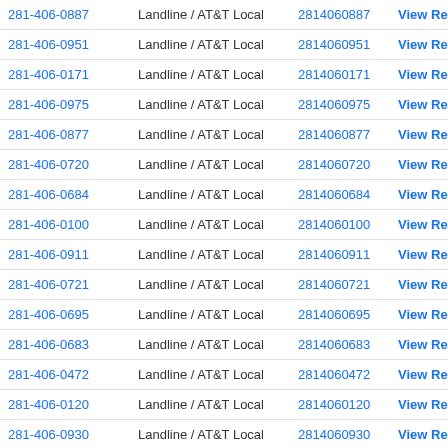| Phone | Type | Number | Action |
| --- | --- | --- | --- |
| 281-406-0887 | Landline / AT&T Local | 2814060887 | View Results |
| 281-406-0951 | Landline / AT&T Local | 2814060951 | View Results |
| 281-406-0171 | Landline / AT&T Local | 2814060171 | View Results |
| 281-406-0975 | Landline / AT&T Local | 2814060975 | View Results |
| 281-406-0877 | Landline / AT&T Local | 2814060877 | View Results |
| 281-406-0720 | Landline / AT&T Local | 2814060720 | View Results |
| 281-406-0684 | Landline / AT&T Local | 2814060684 | View Results |
| 281-406-0100 | Landline / AT&T Local | 2814060100 | View Results |
| 281-406-0911 | Landline / AT&T Local | 2814060911 | View Results |
| 281-406-0721 | Landline / AT&T Local | 2814060721 | View Results |
| 281-406-0695 | Landline / AT&T Local | 2814060695 | View Results |
| 281-406-0683 | Landline / AT&T Local | 2814060683 | View Results |
| 281-406-0472 | Landline / AT&T Local | 2814060472 | View Results |
| 281-406-0120 | Landline / AT&T Local | 2814060120 | View Results |
| 281-406-0930 | Landline / AT&T Local | 2814060930 | View Results |
| 281-406-0444 | Landline / AT&T Local | 2814060444 | View Results |
| 281-406-0109 | Landline / AT&T Local | 2814060109 | View Results |
| 281-406-0143 | Landline / AT&T Local | 2814060143 | View Results |
| 281-406-0873 | Landline / AT&T Local | 2814060873 | View Results |